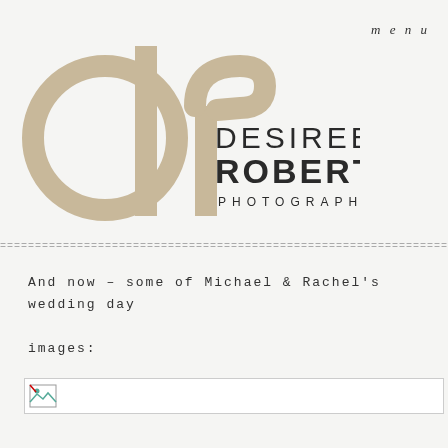menu
[Figure (logo): Desiree Roberts Photography logo with stylized 'dr' monogram in tan/beige and text 'DESIREE ROBERTS PHOTOGRAPHY' in dark sans-serif]
========================================
And now – some of Michael & Rachel's wedding day images:
[Figure (photo): Broken/missing image placeholder]